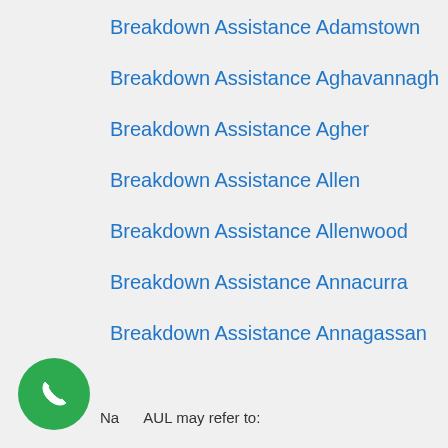Breakdown Assistance Adamstown
Breakdown Assistance Aghavannagh
Breakdown Assistance Agher
Breakdown Assistance Allen
Breakdown Assistance Allenwood
Breakdown Assistance Annacurra
Breakdown Assistance Annagassan
Breakdown Assistance Annamoe
Breakdown Assistance Ardcath
NaaUL may refer to: